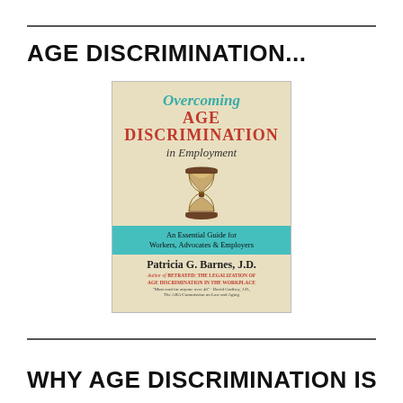AGE DISCRIMINATION...
[Figure (illustration): Book cover of 'Overcoming Age Discrimination in Employment' by Patricia G. Barnes, J.D. Features teal and red title text, an hourglass image, a teal banner reading 'An Essential Guide for Workers, Advocates & Employers', and author attribution with subtitle referencing 'Betrayed: The Legalization of Age Discrimination in the Workplace'.]
WHY AGE DISCRIMINATION IS